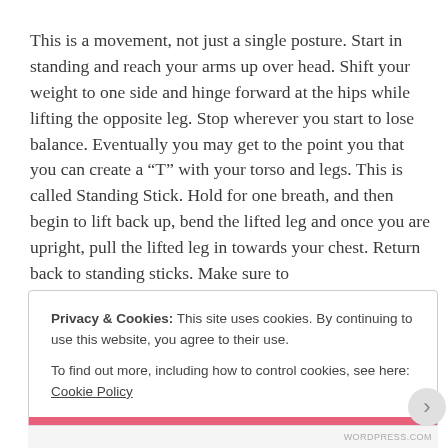This is a movement, not just a single posture. Start in standing and reach your arms up over head. Shift your weight to one side and hinge forward at the hips while lifting the opposite leg. Stop wherever you start to lose balance. Eventually you may get to the point you that you can create a “T” with your torso and legs. This is called Standing Stick. Hold for one breath, and then begin to lift back up, bend the lifted leg and once you are upright, pull the lifted leg in towards your chest. Return back to standing sticks. Make sure to
Privacy & Cookies: This site uses cookies. By continuing to use this website, you agree to their use.
To find out more, including how to control cookies, see here: Cookie Policy
Close and accept